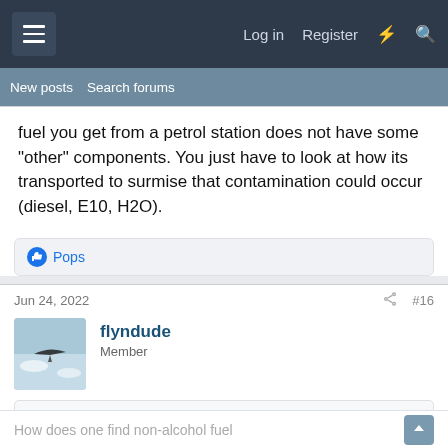Log in  Register
New posts  Search forums
fuel you get from a petrol station does not have some "other" components. You just have to look at how its transported to surmise that contamination could occur (diesel, E10, H2O).
👍 Pops
Jun 24, 2022  #16
flyndude
Member
HomeBuilt101 said: ↑
Good information and always THANKS.
How does one find non-alcohol fuel